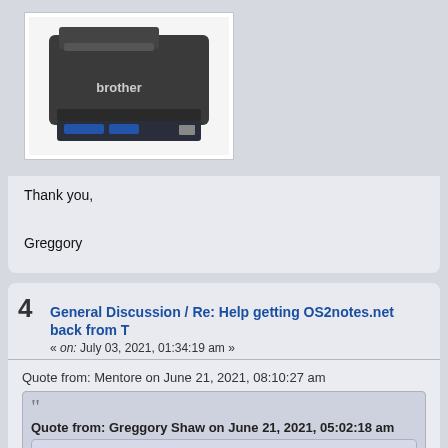[Figure (photo): Photo of a Brother brand laser printer, dark grey/black, on white background]
Thank you,

Greggory
4  General Discussion / Re: Help getting OS2notes.net back from T
« on: July 03, 2021, 01:34:19 am »
Quote from: Mentore on June 21, 2021, 08:10:27 am
Quote from: Greggory Shaw on June 21, 2021, 05:02:18 am
HI
I used PPWIZARD version 08.298 on OS/2 and the sources are gone, but is there an e…
https://web.archive.org/web/20160312220056/http://os2notes.net/